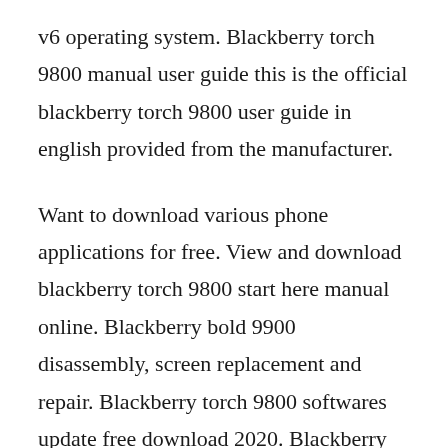v6 operating system. Blackberry torch 9800 manual user guide this is the official blackberry torch 9800 user guide in english provided from the manufacturer.
Want to download various phone applications for free. View and download blackberry torch 9800 start here manual online. Blackberry bold 9900 disassembly, screen replacement and repair. Blackberry torch 9800 softwares update free download 2020. Blackberry torch 9800 start here manual pdf download. Blackberry bold 9900 disassembly, screen